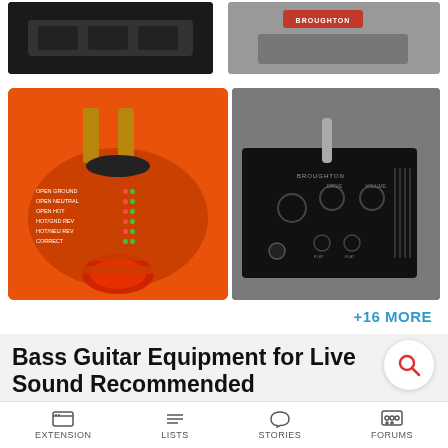[Figure (photo): Top-left photo of black speaker/audio equipment]
[Figure (photo): Top-right photo showing a Broughton branded item on gray surface]
[Figure (photo): Middle-left photo of an orange electrical outlet tester with indicator lights]
[Figure (photo): Middle-right photo of a black Broughton bass preamp/DI box with knobs]
+16 MORE
Bass Guitar Equipment for Live Sound Recommended
by Bass Players
Live sound reinforcement and PA systems.
EXTENSION  LISTS  STORIES  FORUMS